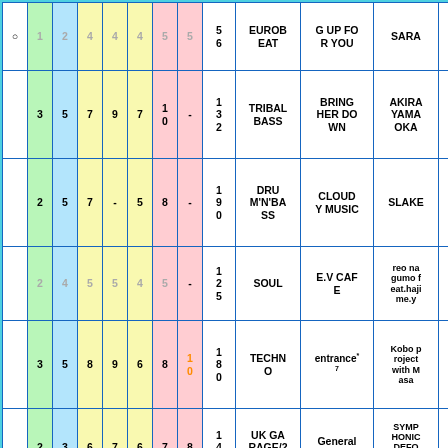| ○ | 1 | 2 | 4 | 4 | 4 | 5 | 5 | 56 | genre | song | artist | range | last |
| --- | --- | --- | --- | --- | --- | --- | --- | --- | --- | --- | --- | --- | --- |
| ○ | 1 | 2 | 4 | 4 | 4 | 5 | 5 | 56 | EUROBEAT | G UP FOR YOU | SARA | 7-11 | 7 |
|  | 3 | 5 | 7 | 9 | 7 | 10 | - | 132 | TRIBAL BASS | BRING HER DOWN | AKIRA YAMAOKA | 7-9,15-22 | 7 |
|  | 2 | 5 | 7 | - | 5 | 8 | - | 190 | DRUM'N'BASS | CLOUDY MUSIC | SLAKE | 7-10,16-20 | 7 |
|  | 2 | 4 | 5 | 5 | 4 | 5 | - | 125 | SOUL | E.V CAFE | reo na gumo feat.haji me.y | 7-9 | 7 |
|  | 3 | 5 | 8 | 9 | 6 | 8 | 10 | 180 | TECHNO | entrance*7 | Kobo project with Masa | 7-9,19-22 | 5,7,INF |
|  | 2 | 3 | 6 | 7 | 6 | 7 | 8 | 142 | UK GARAGE/2-STEP | General Relativity | SYMPHONIC DEFOGGERS | 7-10 | 7,13 |
|  |  |  |  |  |  |  | 1 | 1 | BIG BE... |  |  | 7-... | 7,... |